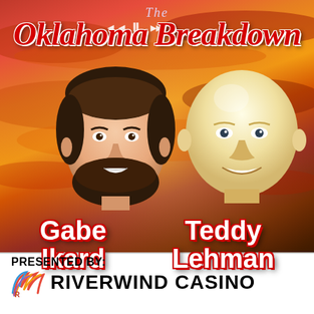[Figure (illustration): Podcast cover art for 'The Oklahoma Breakdown' featuring illustrated faces of Gabe Ikard and Teddy Lehman against a dramatic sunset sky background, with media player controls at the top. Presented by Riverwind Casino at the bottom.]
The Oklahoma Breakdown
Gabe Ikard   Teddy Lehman
PRESENTED BY:
RIVERWIND CASINO